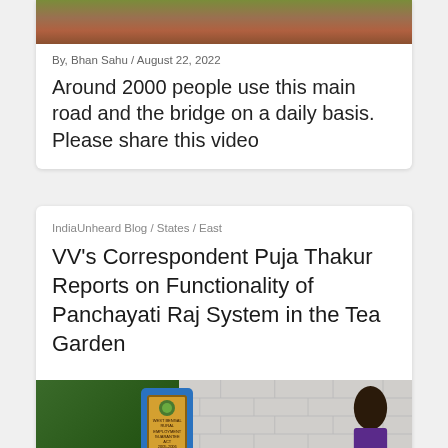[Figure (photo): Top portion of a rocky terrain or road image, partially cropped at the top of the page]
By, Bhan Sahu / August 22, 2022
Around 2000 people use this main road and the bridge on a daily basis. Please share this video
IndiaUnheard Blog / States / East
VV's Correspondent Puja Thakur Reports on Functionality of Panchayati Raj System in the Tea Garden
[Figure (photo): Photo of a woman standing next to a blue government sign board, with green foliage and a brick wall in the background]